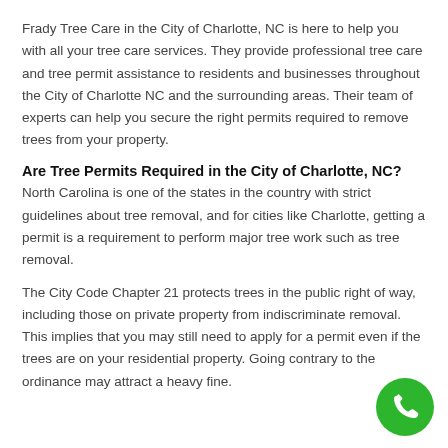Frady Tree Care in the City of Charlotte, NC is here to help you with all your tree care services. They provide professional tree care and tree permit assistance to residents and businesses throughout the City of Charlotte NC and the surrounding areas. Their team of experts can help you secure the right permits required to remove trees from your property.
Are Tree Permits Required in the City of Charlotte, NC?
North Carolina is one of the states in the country with strict guidelines about tree removal, and for cities like Charlotte, getting a permit is a requirement to perform major tree work such as tree removal.
The City Code Chapter 21 protects trees in the public right of way, including those on private property from indiscriminate removal. This implies that you may still need to apply for a permit even if the trees are on your residential property. Going contrary to the ordinance may attract a heavy fine.
[Figure (other): Green circular phone/call button in the bottom-right corner of the page]